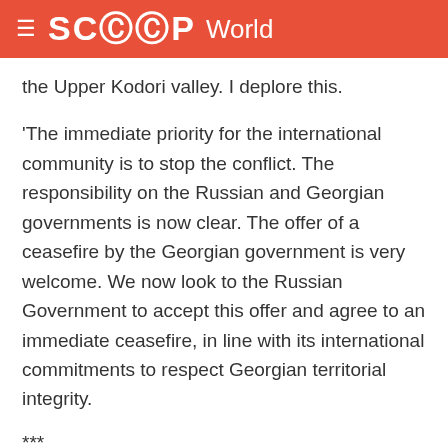≡ SCOOP World
the Upper Kodori valley. I deplore this.
'The immediate priority for the international community is to stop the conflict. The responsibility on the Russian and Georgian governments is now clear. The offer of a ceasefire by the Georgian government is very welcome. We now look to the Russian Government to accept this offer and agree to an immediate ceasefire, in line with its international commitments to respect Georgian territorial integrity.
***